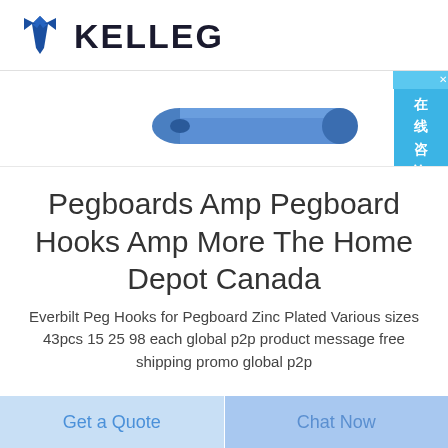[Figure (logo): KELLEG logo with blue tie icon and bold dark text]
[Figure (photo): Blue foam roller product image partially visible at top]
Pegboards Amp Pegboard Hooks Amp More The Home Depot Canada
Everbilt Peg Hooks for Pegboard Zinc Plated Various sizes 43pcs 15 25 98 each global p2p product message free shipping promo global p2p
Get a Quote
Chat Now